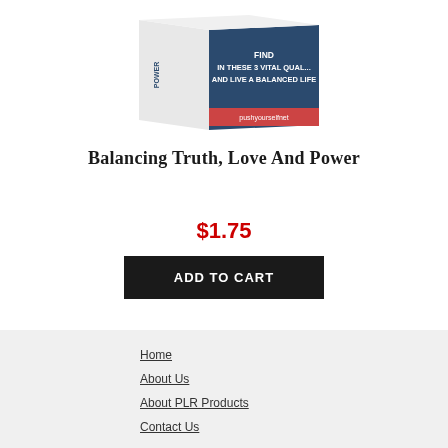[Figure (photo): Product box image showing text about finding vital qualities and living a balanced life, with dark blue cover]
Balancing Truth, Love And Power
$1.75
ADD TO CART
Home
About Us
About PLR Products
Contact Us
[Figure (logo): reCAPTCHA widget with blue logo and Privacy Terms text]